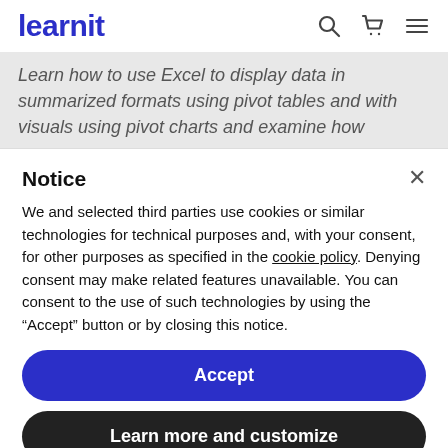learnit
Learn how to use Excel to display data in summarized formats using pivot tables and with visuals using pivot charts and examine how
Notice
We and selected third parties use cookies or similar technologies for technical purposes and, with your consent, for other purposes as specified in the cookie policy. Denying consent may make related features unavailable. You can consent to the use of such technologies by using the “Accept” button or by closing this notice.
Accept
Learn more and customize